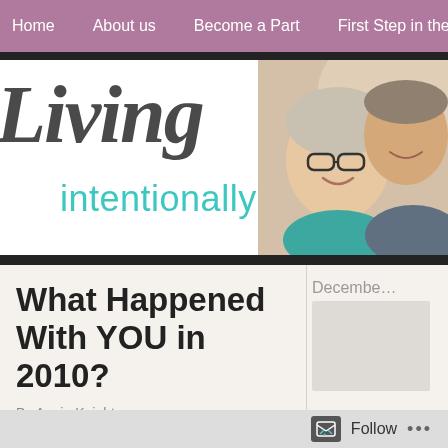Home   About us   Become a Part   First Step in the J…
[Figure (illustration): Living Intentionally blog banner with cursive 'Living' in dark gray and 'intentionally' in teal, with a photo of a smiling older couple on the right]
What Happened With YOU in 2010?
By Angie Knight
With me—many things. I started this…
Decembe…
Follow  …